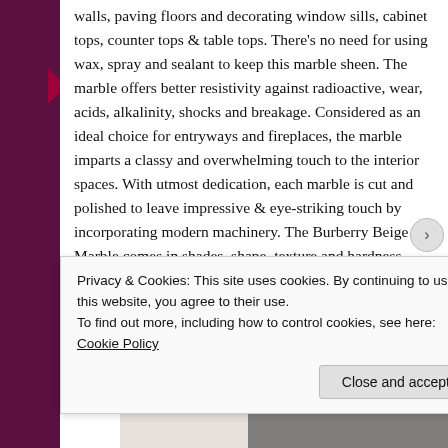walls, paving floors and decorating window sills, cabinet tops, counter tops & table tops. There's no need for using wax, spray and sealant to keep this marble sheen. The marble offers better resistivity against radioactive, wear, acids, alkalinity, shocks and breakage. Considered as an ideal choice for entryways and fireplaces, the marble imparts a classy and overwhelming touch to the interior spaces. With utmost dedication, each marble is cut and polished to leave impressive & eye-striking touch by incorporating modern machinery. The Burberry Beige Marble comes in shades, shape, texture and hardness variations to meet every customer needs.

It is a very high quality & durable shining material that
Privacy & Cookies: This site uses cookies. By continuing to use this website, you agree to their use.
To find out more, including how to control cookies, see here: Cookie Policy
Close and accept